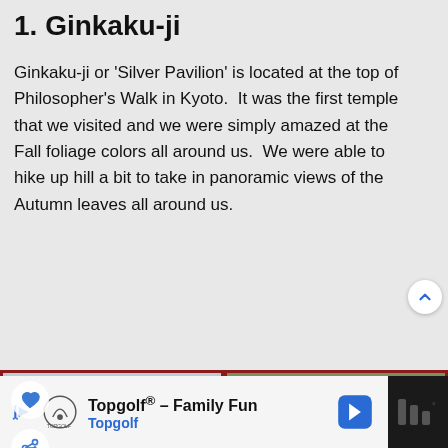1. Ginkaku-ji
Ginkaku-ji or 'Silver Pavilion' is located at the top of Philosopher's Walk in Kyoto.  It was the first temple that we visited and we were simply amazed at the Fall foliage colors all around us.  We were able to hike up hill a bit to take in panoramic views of the Autumn leaves all around us.
[Figure (photo): Two side-by-side photos of Ginkaku-ji (Silver Pavilion) in Kyoto showing autumn foliage. Left photo shows a panoramic view of colorful autumn trees on hillside. Right photo shows a gnarled pine tree with the pavilion and red maples in background.]
[Figure (screenshot): Advertisement banner at bottom: Topgolf® - Family Fun, Topgolf, with navigation arrow icon and dark right panel.]